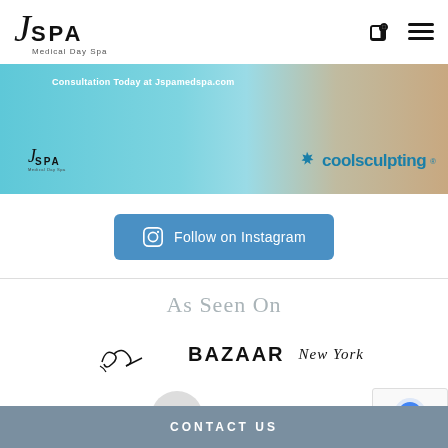[Figure (logo): JSPA Medical Day Spa logo in header]
[Figure (screenshot): Banner image with JSPA and coolsculpting logos on teal/skin-tone background. Text reads: Consultation Today at Jspamedspa.com]
[Figure (illustration): Blue button with Instagram icon and text 'Follow on Instagram']
As Seen On
[Figure (logo): Oprah signature logo, BAZAAR logo, New York magazine logo]
CONTACT US